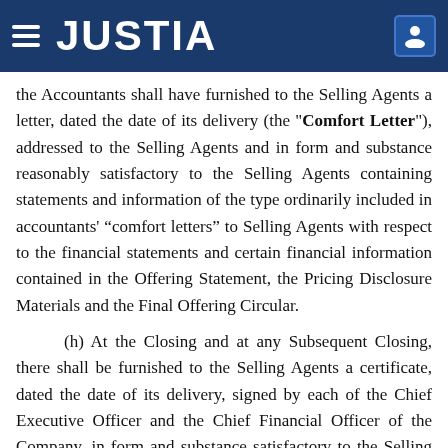JUSTIA
the Accountants shall have furnished to the Selling Agents a letter, dated the date of its delivery (the "Comfort Letter"), addressed to the Selling Agents and in form and substance reasonably satisfactory to the Selling Agents containing statements and information of the type ordinarily included in accountants' “comfort letters” to Selling Agents with respect to the financial statements and certain financial information contained in the Offering Statement, the Pricing Disclosure Materials and the Final Offering Circular.
(h) At the Closing and at any Subsequent Closing, there shall be furnished to the Selling Agents a certificate, dated the date of its delivery, signed by each of the Chief Executive Officer and the Chief Financial Officer of the Company, in form and substance satisfactory to the Selling Agents to the effect that each